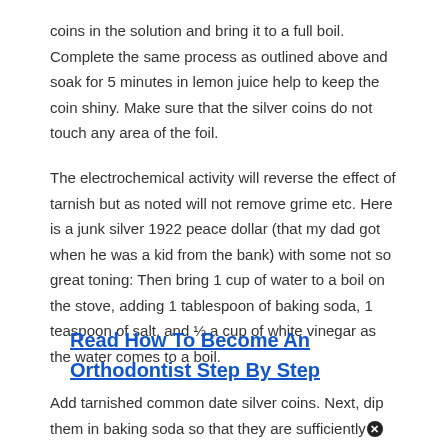coins in the solution and bring it to a full boil. Complete the same process as outlined above and soak for 5 minutes in lemon juice help to keep the coin shiny. Make sure that the silver coins do not touch any area of the foil.
The electrochemical activity will reverse the effect of tarnish but as noted will not remove grime etc. Here is a junk silver 1922 peace dollar (that my dad got when he was a kid from the bank) with some not so great toning: Then bring 1 cup of water to a boil on the stove, adding 1 tablespoon of baking soda, 1 teaspoon of salt, and ½ a cup of white vinegar as the water comes to a boil.
Read  How To Become An Orthodontist Step By Step
Add tarnished common date silver coins. Next, dip them in baking soda so that they are sufficiently covered on all sides and then